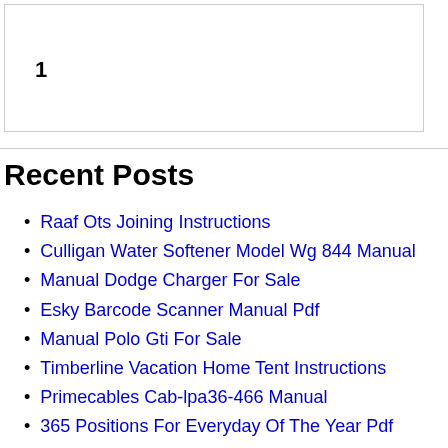1
Recent Posts
Raaf Ots Joining Instructions
Culligan Water Softener Model Wg 844 Manual
Manual Dodge Charger For Sale
Esky Barcode Scanner Manual Pdf
Manual Polo Gti For Sale
Timberline Vacation Home Tent Instructions
Primecables Cab-lpa36-466 Manual
365 Positions For Everyday Of The Year Pdf